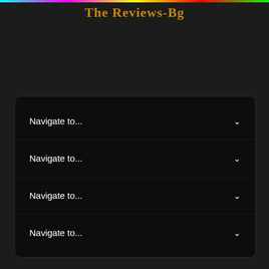The Reviews-Bg
Navigate to...
Navigate to...
Navigate to...
Navigate to...